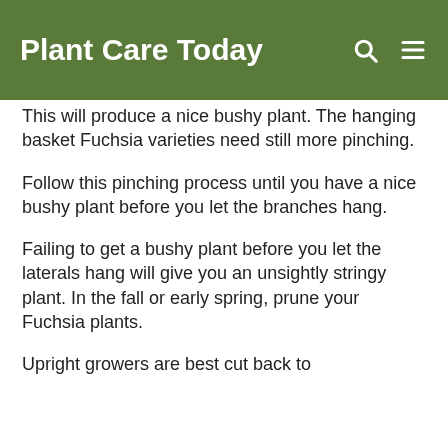Plant Care Today
This will produce a nice bushy plant. The hanging basket Fuchsia varieties need still more pinching.
Follow this pinching process until you have a nice bushy plant before you let the branches hang.
Failing to get a bushy plant before you let the laterals hang will give you an unsightly stringy plant. In the fall or early spring, prune your Fuchsia plants.
Upright growers are best cut back to